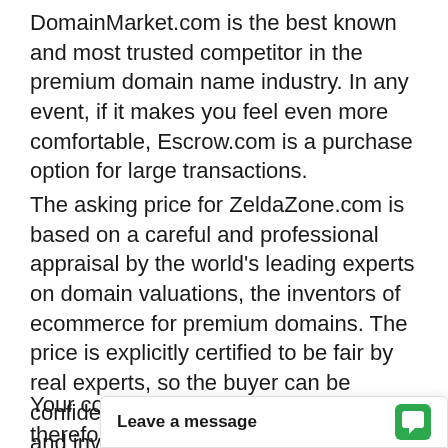DomainMarket.com is the best known and most trusted competitor in the premium domain name industry. In any event, if it makes you feel even more comfortable, Escrow.com is a purchase option for large transactions.
The asking price for ZeldaZone.com is based on a careful and professional appraisal by the world's leading experts on domain valuations, the inventors of ecommerce for premium domains. The price is explicitly certified to be fair by real experts, so the buyer can be confident in the great long-term value and investment opportunity for the unique domain asset in question.
Your competition for a great domain, and therefore your opportunity to arbitrage or capitalize, is even greater than your nor[mal competitors because it includes]
Leave a message